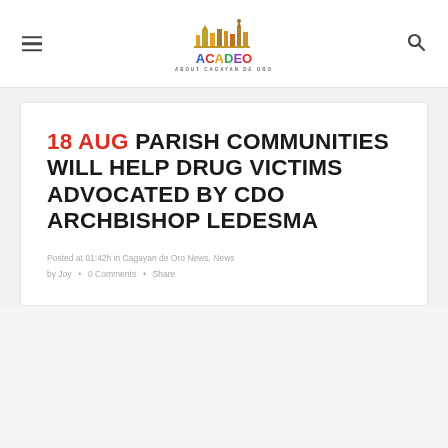ACADEO – About Cagayan de Oro
18 AUG PARISH COMMUNITIES WILL HELP DRUG VICTIMS ADVOCATED BY CDO ARCHBISHOP LEDESMA
Posted at 01:42h in Cagayan de Oro News, News by Joy • 0 Comments • Share